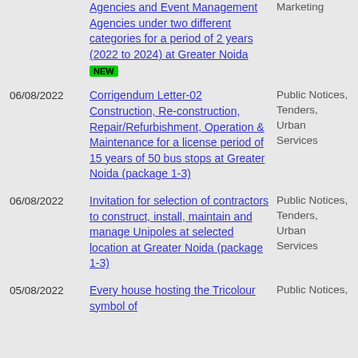Agencies and Event Management Agencies under two different categories for a period of 2 years (2022 to 2024) at Greater Noida NEW | Marketing
06/08/2022 | Corrigendum Letter-02 Construction, Re-construction, Repair/Refurbishment, Operation & Maintenance for a license period of 15 years of 50 bus stops at Greater Noida (package 1-3) | Public Notices, Tenders, Urban Services
06/08/2022 | Invitation for selection of contractors to construct, install, maintain and manage Unipoles at selected location at Greater Noida (package 1-3) | Public Notices, Tenders, Urban Services
05/08/2022 | Every house hosting the Tricolour symbol of | Public Notices